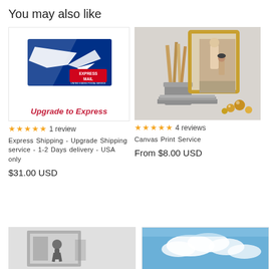You may also like
[Figure (photo): USPS Express Mail envelope/package with eagle logo on blue background, with text 'Upgrade to Express' in red italic below]
[Figure (photo): Canvas print service photo showing framed prints and canvas prints leaning against white brick wall with golden decorations]
★★★★★ 1 review
Express Shipping - Upgrade Shipping service - 1-2 Days delivery - USA only
$31.00 USD
★★★★★ 4 reviews
Canvas Print Service
From $8.00 USD
[Figure (photo): Black and white street photography photo on gray background]
[Figure (photo): Canvas print with blue sky and clouds]